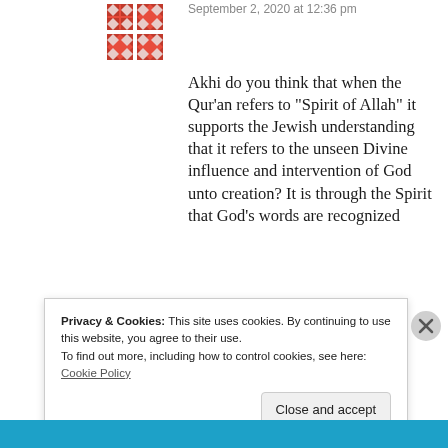[Figure (illustration): Red geometric quilt-pattern avatar icon]
September 2, 2020 at 12:36 pm
Akhi do you think that when the Qur’an refers to “Spirit of Allah” it supports the Jewish understanding that it refers to the unseen Divine influence and intervention of God unto creation? It is through the Spirit that God’s words are recognized
★ Like
Privacy & Cookies: This site uses cookies. By continuing to use this website, you agree to their use.
To find out more, including how to control cookies, see here: Cookie Policy
Close and accept